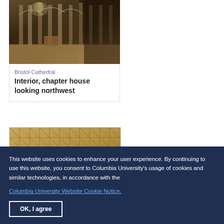[Figure (photo): Interior of Bristol Cathedral chapter house, showing ornate stone columns and arched ceiling, looking northwest]
Bristol Cathedral
Interior, chapter house looking northwest
[Figure (photo): Close-up photo of decorative stonework or textile with geometric diamond pattern]
This website uses cookies to enhance your user experience. By continuing to use this website, you consent to Columbia University's usage of cookies and similar technologies, in accordance with the
Columbia University Website Cookie Notice.
OK, I agree